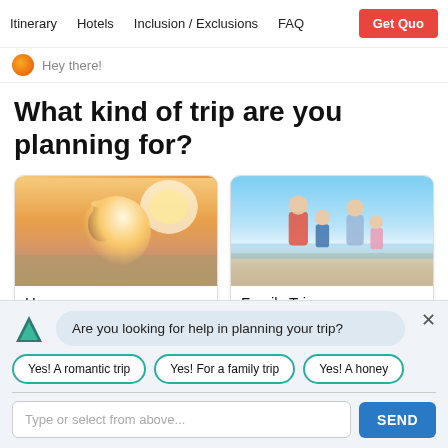Itinerary   Hotels   Inclusion / Exclusions   FAQ   Get Quo
Hey there!
What kind of trip are you planning for?
[Figure (photo): Photo of a couple on a beach at sunset, honeymoon theme. Card labeled 'Honeymoon'.]
[Figure (photo): Photo of a family running on a beach, family trip theme. Card labeled 'Family Trip'.]
Are you looking for help in planning your trip?
Yes! A romantic trip
Yes! For a family trip
Yes! A honey
Type or select from above...
SEND